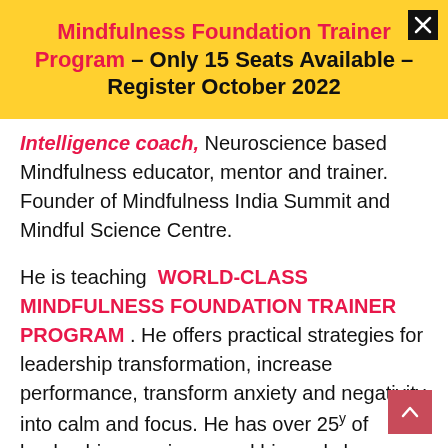Mindfulness Foundation Trainer Program – Only 15 Seats Available – Register October 2022
Intelligence coach, Neuroscience based Mindfulness educator, mentor and trainer. Founder of Mindfulness India Summit and Mindful Science Centre.
He is teaching WORLD-CLASS MINDFULNESS FOUNDATION TRAINER PROGRAM . He offers practical strategies for leadership transformation, increase performance, transform anxiety and negativity into calm and focus. He has over 25y of leadership experience and his workshops facilitate physical and mental wellbeing and cultivate